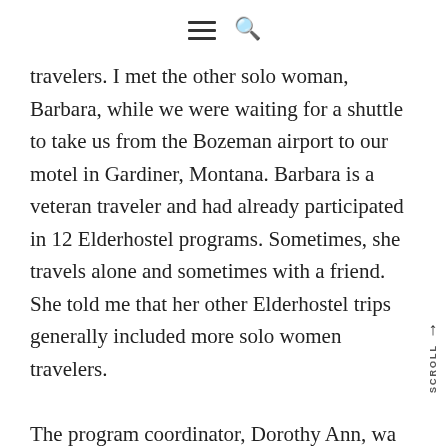≡ 🔍
travelers. I met the other solo woman, Barbara, while we were waiting for a shuttle to take us from the Bozeman airport to our motel in Gardiner, Montana. Barbara is a veteran traveler and had already participated in 12 Elderhostel programs. Sometimes, she travels alone and sometimes with a friend. She told me that her other Elderhostel trips generally included more solo women travelers.

The program coordinator, Dorothy Ann, wa waiting to greet us when we arrived at the